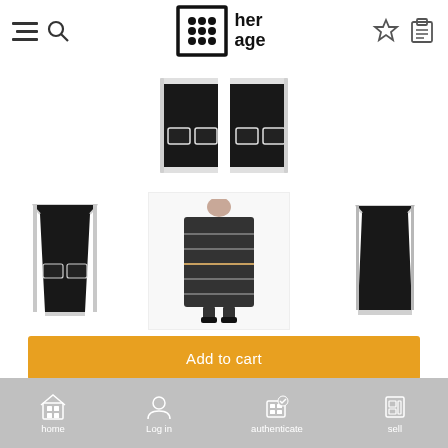[Figure (logo): Her Age logo with dotted grid icon and text 'her age']
[Figure (photo): Main product photo: black with white trim sleeveless jacket/vest top view]
[Figure (photo): Thumbnail 1: black sleeveless vest with white trim front view]
[Figure (photo): Thumbnail 2: model wearing long patterned coat]
[Figure (photo): Thumbnail 3: black sleeveless mini dress]
Add to cart
Sell similar product
home  Log in  authenticate  sell